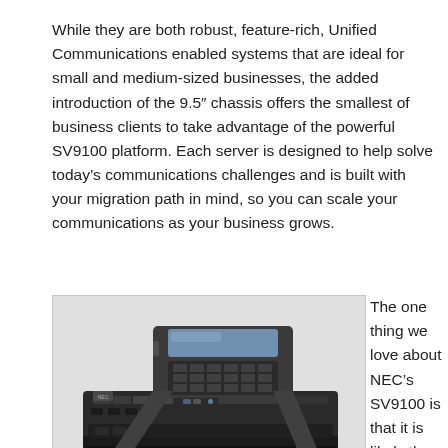While they are both robust, feature-rich, Unified Communications enabled systems that are ideal for small and medium-sized businesses, the added introduction of the 9.5" chassis offers the smallest of business clients to take advantage of the powerful SV9100 platform. Each server is designed to help solve today's communications challenges and is built with your migration path in mind, so you can scale your communications as your business grows.
[Figure (photo): Photo of NEC SV9100 phone system hardware: a desktop IP phone sitting on top of a compact server/PBX chassis unit]
Because it is so future friendly and upgraded by frequent
The one thing we love about NEC's SV9100 is that it is likely the last